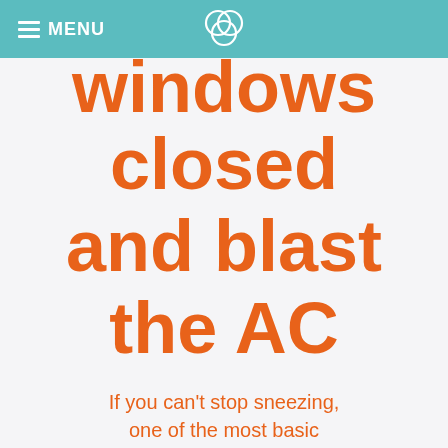MENU
windows closed and blast the AC
If you can't stop sneezing, one of the most basic